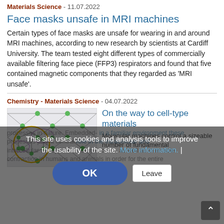Materials Science - 11.07.2022
Face masks unsafe in MRI machines
Certain types of face masks are unsafe for wearing in and around MRI machines, according to new research by scientists at Cardiff University. The team tested eight different types of commercially available filtering face piece (FFP3) respirators and found that five contained magnetic components that they regarded as 'MRI unsafe'.
Chemistry - Materials Science - 04.07.2022
[Figure (illustration): Scientific illustration showing molecular network/lattice structure with green nodes and geometric patterns, with a magnified circular inset detail]
On the way to cell-type materials
Molecular machines control a sizeable number of fundamental
processes in nature. Embedded- in a familiar environment these processes play a central role in the intracellular and intercellular transportation of molecules, as well as in muscle contraction in humans and animals in order for the entire
This site uses cookies and analysis tools to improve the usability of the site. More information. |